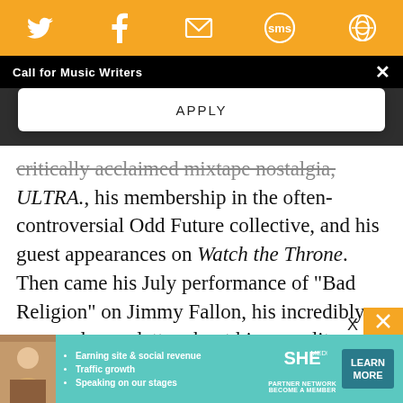[Figure (screenshot): Orange social sharing bar with Twitter, Facebook, Email, SMS, and share icons in white on orange background]
Call for Music Writers
APPLY
critically acclaimed mixtape nostalgia, ULTRA., his membership in the often-controversial Odd Future collective, and his guest appearances on Watch the Throne. Then came his July performance of "Bad Religion" on Jimmy Fallon, his incredibly personal open letter about his sexuality, and, of course, the tremendous achievement of his debut album, channel ORANGE. Frank Ocean didn't just have what might be the biggest 2012 of any debut artist — he
[Figure (screenshot): SHE Partner Network advertisement banner with photo of woman, bullet points about earning site and social revenue, traffic growth, speaking on stages, and a Learn More button]